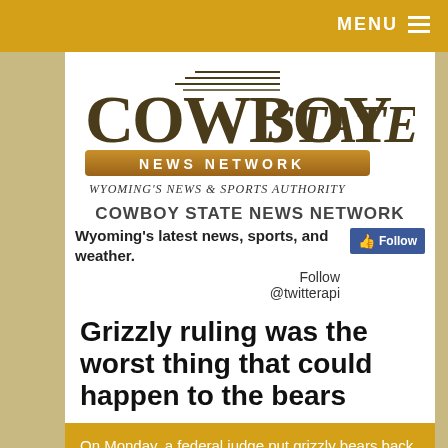MENU
[Figure (logo): Cowboy State News Network logo with COWBOY STATE text in bold serif, NEWS NETWORK on gold banner, tagline WYOMING'S NEWS & SPORTS AUTHORITY]
COWBOY STATE NEWS NETWORK
Wyoming's latest news, sports, and weather.
Follow @twitterapi
Grizzly ruling was the worst thing that could happen to the bears
On Monday, a federal judge put grizzly bears back under Endangered Species Act protection. The move, which some say is a win for grizzly bears, is actually...